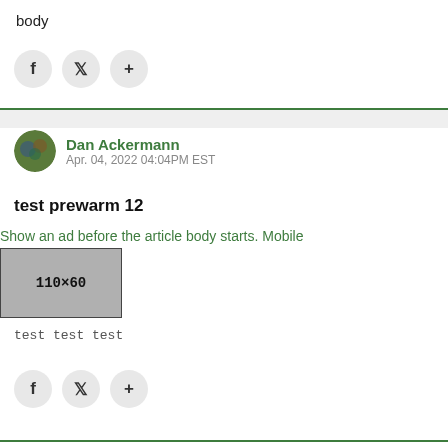body
[Figure (other): Social sharing buttons row (Facebook f, Twitter bird, plus icon) — top row]
Dan Ackermann
Apr. 04, 2022 04:04PM EST
test prewarm 12
Show an ad before the article body starts. Mobile
[Figure (other): Gray advertisement placeholder box labeled 110x60]
test test test
[Figure (other): Social sharing buttons row (Facebook f, Twitter bird, plus icon) — bottom row]